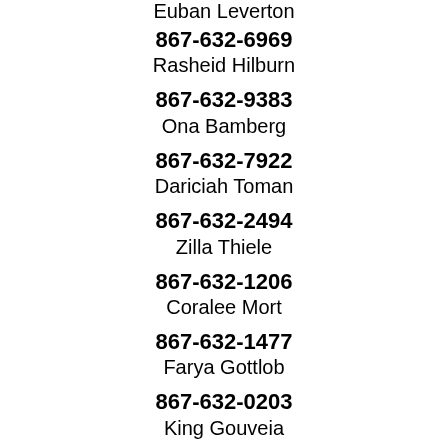Euban Leverton
867-632-6969
Rasheid Hilburn
867-632-9383
Ona Bamberg
867-632-7922
Dariciah Toman
867-632-2494
Zilla Thiele
867-632-1206
Coralee Mort
867-632-1477
Farya Gottlob
867-632-0203
King Gouveia
867-632-3890
Raimundo Aulbach
867-632-9271